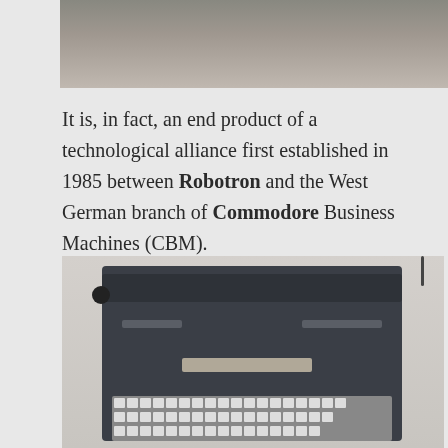[Figure (photo): Top portion of a dark electronic device or typewriter, cropped — only the top edge visible against a light background.]
It is, in fact, an end product of a technological alliance first established in 1985 between Robotron and the West German branch of Commodore Business Machines (CBM).
[Figure (photo): A dark gray Commodore electronic typewriter (CBM/Robotron) shown from above, with a paper feed platen at top, the Commodore logo and 'Textron Printer' label visible on the body, a small display slot in the middle, and a full QWERTY keyboard at the bottom. A power cord exits from the upper right.]